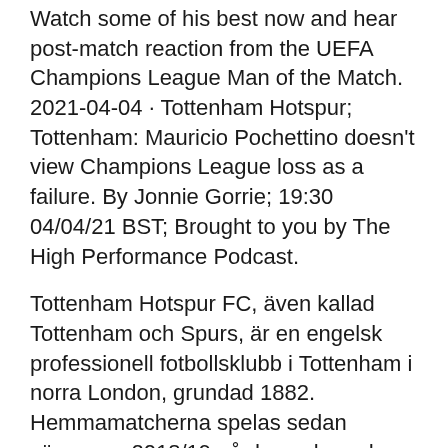Watch some of his best now and hear post-match reaction from the UEFA Champions League Man of the Match. 2021-04-04 · Tottenham Hotspur; Tottenham: Mauricio Pochettino doesn't view Champions League loss as a failure. By Jonnie Gorrie; 19:30 04/04/21 BST; Brought to you by The High Performance Podcast.
Tottenham Hotspur FC, även kallad Tottenham och Spurs, är en engelsk professionell fotbollsklubb i Tottenham i norra London, grundad 1882. Hemmamatcherna spelas sedan säsongen 2018/19 på den nybyggda arenan Tottenham Hotspur Stadium.
Slås diagonalt
Ieksands if hemsida